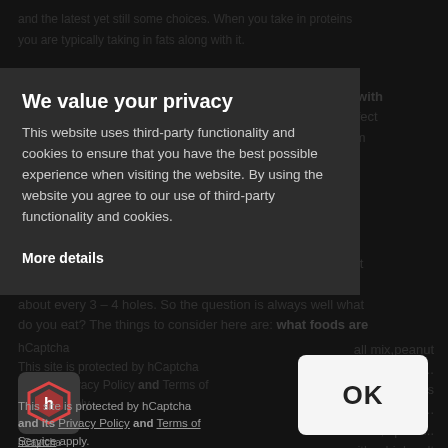and the latest yet still some choices. When you take in proteins you are typically taking in fats along with it.
Don'ts For Breakfast: Cereals (highly processed carbs with heat, pressure, high in sugar and causes a roller coaster effect of... think the blood sugar rise then having a crash! And skim milk...
Do... Now that you've started your day with a good quality breakfast the key is to maintain your blood sugar throughout the... My recommendation is to have something to eat about every 3 – 4 holes. So the question is always well what do you eat? The things to consider here are: what foods are...
[Figure (screenshot): Cookie/privacy consent modal overlay on a dark website. The modal reads 'We value your privacy' with body text about third-party functionality and cookies, a 'More details' link, and a separate hCaptcha notice on the left side. An OK button appears on the right side of the lower portion.]
We value your privacy
This website uses third-party functionality and cookies to ensure that you have the best possible experience when visiting the website. By using the website you agree to our use of third-party functionality and cookies.
More details
hCaptcha
This site is protected by hCaptcha and its Privacy Policy and Terms of Service apply.
OK
all mix, peanut butter ... helps keeps blood ... soda, sports ... g with a high salt